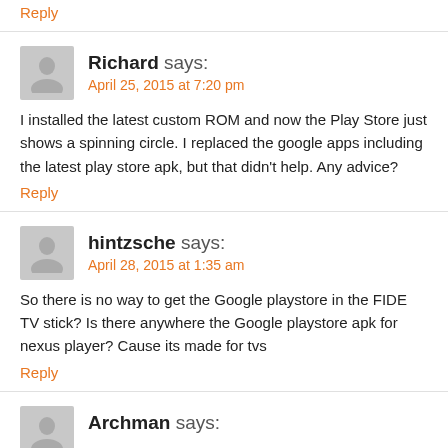Reply
Richard says:
April 25, 2015 at 7:20 pm
I installed the latest custom ROM and now the Play Store just shows a spinning circle. I replaced the google apps including the latest play store apk, but that didn't help. Any advice?
Reply
hintzsche says:
April 28, 2015 at 1:35 am
So there is no way to get the Google playstore in the FIDE TV stick? Is there anywhere the Google playstore apk for nexus player? Cause its made for tvs
Reply
Archman says: